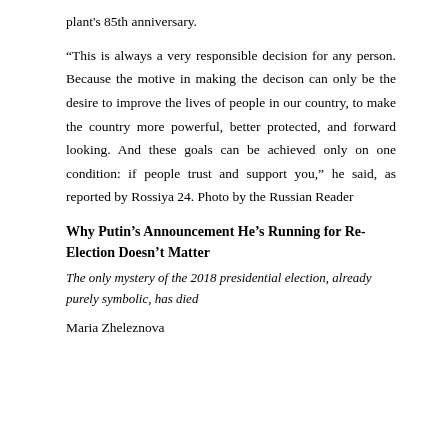plant's 85th anniversary.
“This is always a very responsible decision for any person. Because the motive in making the decison can only be the desire to improve the lives of people in our country, to make the country more powerful, better protected, and forward looking. And these goals can be achieved only on one condition: if people trust and support you,” he said, as reported by Rossiya 24. Photo by the Russian Reader
Why Putin’s Announcement He’s Running for Re-Election Doesn’t Matter
The only mystery of the 2018 presidential election, already purely symbolic, has died
Maria Zheleznova